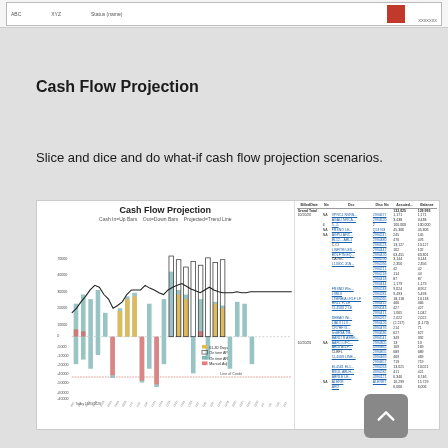[Figure (screenshot): Top navigation bar screenshot strip showing a spreadsheet interface with a red square element on the right side]
Cash Flow Projection
Slice and dice and do what-if cash flow projection scenarios.
[Figure (screenshot): Cash Flow Projection dashboard showing a bar/line combination chart on the left with bars in teal, gold, pink and white colors labeled Cash In=Up Bars, Out=Down Bars, Projected=Trend Line, with a legend for 01-30 Days, On time AP, On time AR, Manual Adj. The right side shows a detailed data table with columns for BilledDate, No, Dsc, Disc No, Account, Balance with rows of financial data in small text including hyperlinks, dates like 10/20/20, and various amounts.]
[Figure (other): Gray rounded rectangle scroll-to-top button with upward chevron arrow]